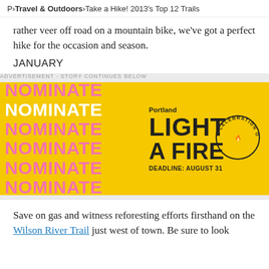P > Travel & Outdoors > Take a Hike! 2013's Top 12 Trails
rather veer off road on a mountain bike, we've got a perfect hike for the occasion and season.
JANUARY
ADVERTISEMENT · STORY CONTINUES BELOW
[Figure (other): Advertisement banner for Portland Light a Fire event. Yellow background with repeated NOMINATE text in pink and white on the left, and Portland Light a Fire logo with 'DEADLINE: AUGUST 31' and circular text 'A CELEBRATION OF GOOD DEEDS' on the right.]
Save on gas and witness reforesting efforts firsthand on the Wilson River Trail just west of town. Be sure to look